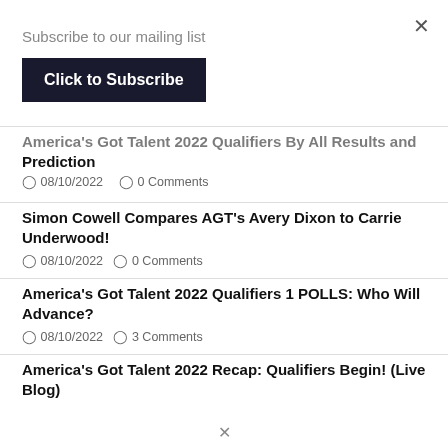Subscribe to our mailing list
Click to Subscribe
America's Got Talent 2022 Qualifiers By All Results and Prediction
08/10/2022   0 Comments
Simon Cowell Compares AGT's Avery Dixon to Carrie Underwood!
08/10/2022   0 Comments
America's Got Talent 2022 Qualifiers 1 POLLS: Who Will Advance?
08/10/2022   3 Comments
America's Got Talent 2022 Recap: Qualifiers Begin! (Live Blog)